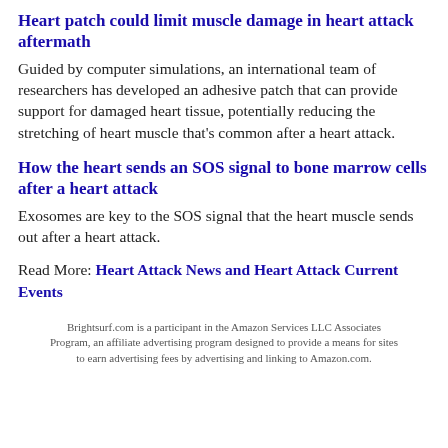Heart patch could limit muscle damage in heart attack aftermath
Guided by computer simulations, an international team of researchers has developed an adhesive patch that can provide support for damaged heart tissue, potentially reducing the stretching of heart muscle that's common after a heart attack.
How the heart sends an SOS signal to bone marrow cells after a heart attack
Exosomes are key to the SOS signal that the heart muscle sends out after a heart attack.
Read More: Heart Attack News and Heart Attack Current Events
Brightsurf.com is a participant in the Amazon Services LLC Associates Program, an affiliate advertising program designed to provide a means for sites to earn advertising fees by advertising and linking to Amazon.com.